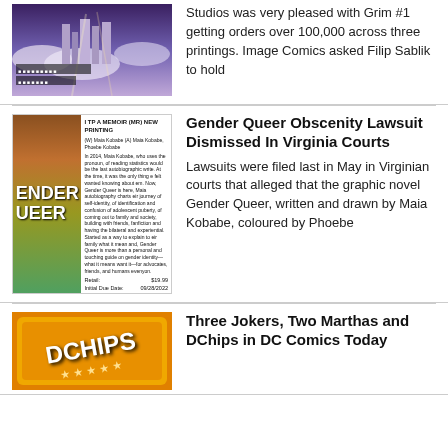[Figure (illustration): Sci-fi cityscape with clouds and light beams, futuristic city]
Studios was very pleased with Grim #1 getting orders over 100,000 across three printings. Image Comics asked Filip Sablik to hold
[Figure (illustration): Gender Queer graphic novel cover and product details page]
Gender Queer Obscenity Lawsuit Dismissed In Virginia Courts
Lawsuits were filed last in May in Virginian courts that alleged that the graphic novel Gender Queer, written and drawn by Maia Kobabe, coloured by Phoebe
Three Jokers, Two Marthas and DChips in DC Comics Today
[Figure (photo): DC Chips snack product packaging, orange and yellow]